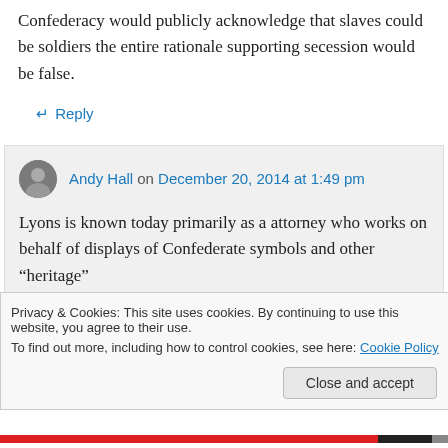Confederacy would publicly acknowledge that slaves could be soldiers the entire rationale supporting secession would be false.
↵ Reply
Andy Hall on December 20, 2014 at 1:49 pm
Lyons is known today primarily as a attorney who works on behalf of displays of Confederate symbols and other “heritage”
Privacy & Cookies: This site uses cookies. By continuing to use this website, you agree to their use.
To find out more, including how to control cookies, see here: Cookie Policy
Close and accept